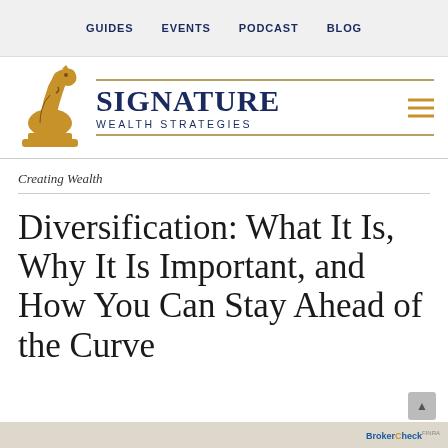GUIDES   EVENTS   PODCAST   BLOG
[Figure (logo): Signature Wealth Strategies logo with gold chess knight icon and navy blue text]
Creating Wealth
Diversification: What It Is, Why It Is Important, and How You Can Stay Ahead of the Curve